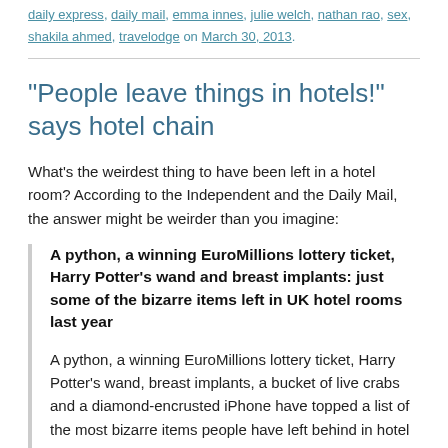daily express, daily mail, emma innes, julie welch, nathan rao, sex, shakila ahmed, travelodge on March 30, 2013.
“People leave things in hotels!” says hotel chain
What’s the weirdest thing to have been left in a hotel room? According to the Independent and the Daily Mail, the answer might be weirder than you imagine:
A python, a winning EuroMillions lottery ticket, Harry Potter’s wand and breast implants: just some of the bizarre items left in UK hotel rooms last year
A python, a winning EuroMillions lottery ticket, Harry Potter’s wand, breast implants, a bucket of live crabs and a diamond-encrusted iPhone have topped a list of the most bizarre items people have left behind in hotel rooms.